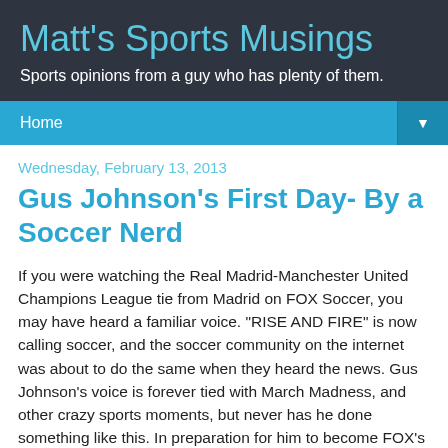Matt's Sports Musings
Sports opinions from a guy who has plenty of them.
Home
Wednesday, February 13, 2013
Gus Johnson's First Day- By a Soccer Nerd
If you were watching the Real Madrid-Manchester United Champions League tie from Madrid on FOX Soccer, you may have heard a familiar voice. "RISE AND FIRE" is now calling soccer, and the soccer community on the internet was about to do the same when they heard the news. Gus Johnson's voice is forever tied with March Madness, and other crazy sports moments, but never has he done something like this. In preparation for him to become FOX's